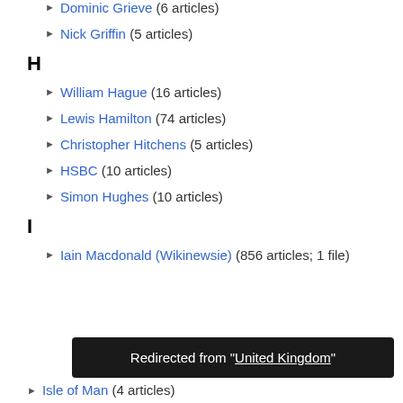Dominic Grieve (6 articles)
Nick Griffin (5 articles)
H
William Hague (16 articles)
Lewis Hamilton (74 articles)
Christopher Hitchens (5 articles)
HSBC (10 articles)
Simon Hughes (10 articles)
I
Iain Macdonald (Wikinewsie) (856 articles; 1 file)
Redirected from "United Kingdom"
Isle of Man (4 articles)